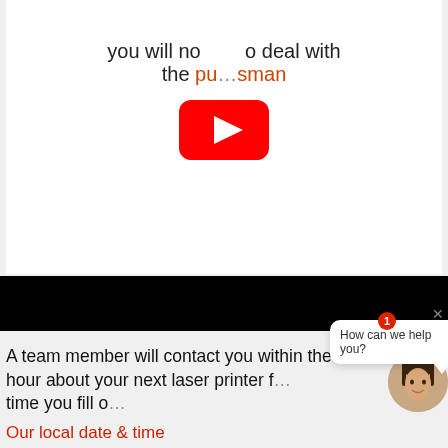[Figure (screenshot): Webpage screenshot showing a YouTube video embed placeholder with text 'you will not deal with the pu...salesman', a black video bar below, and a chat popup overlay with 'How can we help you?' and agent avatar. Red text at bottom: 'Our local date & time in Medfield Massachusetts is: 31-08-2022']
you will not deal with the pu...salesman
A team member will contact you within the hour about your next laser printer f... time you fill o...
How can we help you?
Our local date & time in Medfield Massachusetts is: 31-08-2022